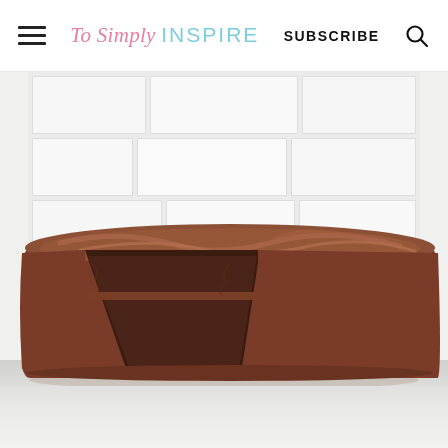To Simply INSPIRE | SUBSCRIBE
[Figure (photo): A chocolate layer cake with rich chocolate frosting, with a slice removed revealing the moist chocolate interior, photographed against a white subway tile background on a marble surface.]